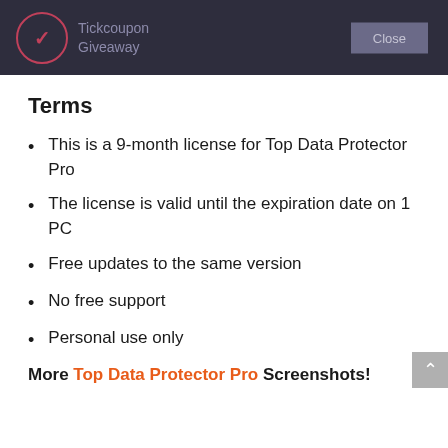[Figure (screenshot): Dark header bar with Tickcoupon Giveaway logo on the left and a Close button on the right]
Terms
This is a 9-month license for Top Data Protector Pro
The license is valid until the expiration date on 1 PC
Free updates to the same version
No free support
Personal use only
More Top Data Protector Pro Screenshots!